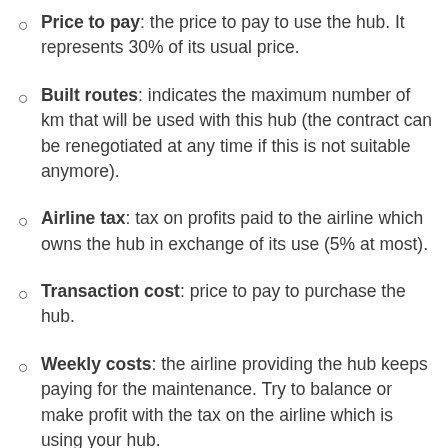Price to pay: the price to pay to use the hub. It represents 30% of its usual price.
Built routes: indicates the maximum number of km that will be used with this hub (the contract can be renegotiated at any time if this is not suitable anymore).
Airline tax: tax on profits paid to the airline which owns the hub in exchange of its use (5% at most).
Transaction cost: price to pay to purchase the hub.
Weekly costs: the airline providing the hub keeps paying for the maintenance. Try to balance or make profit with the tax on the airline which is using your hub.